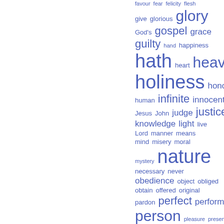[Figure (other): Word cloud (tag cloud) of theological/religious terms displayed in varying font sizes and blue color. Words include: favour, fear, felicity, flesh, give, glorious, glory, God's, gospel, grace, guilty, hand, happiness, hath, heart, heaven, holiness, honour, human, infinite, innocent, Jesus, John, judge, justice, knowledge, light, live, Lord, manner, means, mind, misery, moral, mystery, nature, necessary, never, obedience, object, obliged, obtain, offered, original, pardon, perfect, performed, person, pleasure, present, principle, promise]